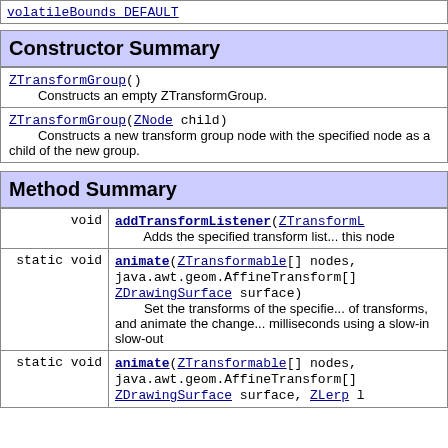| volatileBounds_DEFAULT |
Constructor Summary
| ZTransformGroup()
        Constructs an empty ZTransformGroup. |
| ZTransformGroup(ZNode child)
        Constructs a new transform group node with the specified node as a child of the new group. |
Method Summary
| void | addTransformListener(ZTransformL...
        Adds the specified transform list... this node |
| static void | animate(ZTransformable[] nodes,
java.awt.geom.AffineTransform[]
ZDrawingSurface surface)
        Set the transforms of the specifie... of transforms, and animate the change... milliseconds using a slow-in slow-out |
| static void | animate(ZTransformable[] nodes,
java.awt.geom.AffineTransform[]
ZDrawingSurface surface, ZLerp l... |